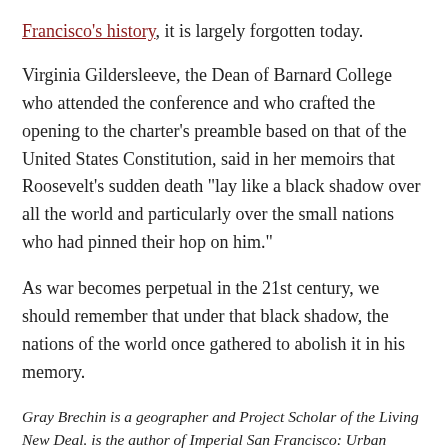Francisco's history, it is largely forgotten today.
Virginia Gildersleeve, the Dean of Barnard College who attended the conference and who crafted the opening to the charter's preamble based on that of the United States Constitution, said in her memoirs that Roosevelt's sudden death "lay like a black shadow over all the world and particularly over the small nations who had pinned their hop on him."
As war becomes perpetual in the 21st century, we should remember that under that black shadow, the nations of the world once gathered to abolish it in his memory.
Gray Brechin is a geographer and Project Scholar of the Living New Deal. is the author of Imperial San Francisco: Urban Power, Earthly Ruin.
Email | View all posts by Gray Brechin →
Posted in News | Tagged Anton Refregier, Four Freedoms,